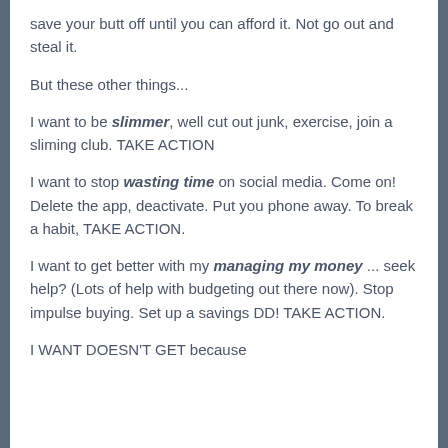save your butt off until you can afford it. Not go out and steal it.
But these other things...
I want to be slimmer, well cut out junk, exercise, join a sliming club. TAKE ACTION
I want to stop wasting time on social media. Come on! Delete the app, deactivate. Put you phone away. To break a habit, TAKE ACTION.
I want to get better with my managing my money ... seek help? (Lots of help with budgeting out there now). Stop impulse buying. Set up a savings DD! TAKE ACTION.
I WANT DOESN'T GET because